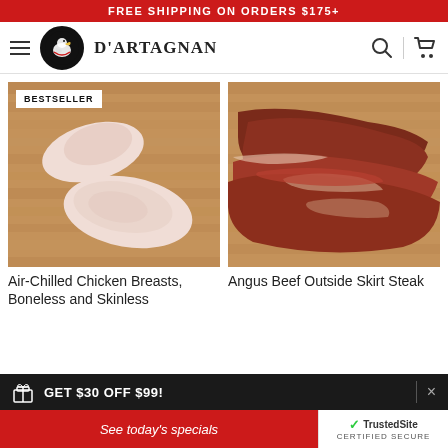FREE SHIPPING ON ORDERS $175+
[Figure (logo): D'Artagnan logo with navigation hamburger menu, circular emblem, brand name, search and cart icons]
[Figure (photo): Air-Chilled Chicken Breasts, Boneless and Skinless on a wooden cutting board with BESTSELLER badge]
[Figure (photo): Angus Beef Outside Skirt Steak on a wooden cutting board]
Air-Chilled Chicken Breasts, Boneless and Skinless
Angus Beef Outside Skirt Steak
GET $30 OFF $99!
See today's specials